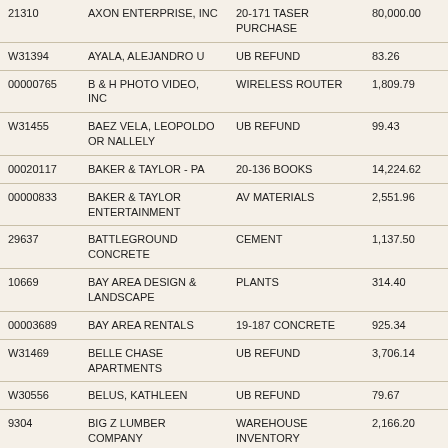| 21310 | AXON ENTERPRISE, INC | 20-171 TASER PURCHASE | 80,000.00 |
| W31394 | AYALA, ALEJANDRO U | UB REFUND | 83.26 |
| 00000765 | B & H PHOTO VIDEO, INC | WIRELESS ROUTER | 1,809.79 |
| W31455 | BAEZ VELA, LEOPOLDO OR NALLELY | UB REFUND | 99.43 |
| 00020117 | BAKER & TAYLOR - PA | 20-136 BOOKS | 14,224.62 |
| 00000833 | BAKER & TAYLOR ENTERTAINMENT | AV MATERIALS | 2,551.96 |
| 29637 | BATTLEGROUND CONCRETE | CEMENT | 1,137.50 |
| 10669 | BAY AREA DESIGN & LANDSCAPE | PLANTS | 314.40 |
| 00003689 | BAY AREA RENTALS | 19-187 CONCRETE | 925.34 |
| W31469 | BELLE CHASE APARTMENTS | UB REFUND | 3,706.14 |
| W30556 | BELUS, KATHLEEN | UB REFUND | 79.67 |
| 9304 | BIG Z LUMBER COMPANY | WAREHOUSE INVENTORY | 2,166.20 |